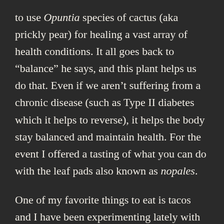to use Opuntia species of cactus (aka prickly pear) for healing a vast array of health conditions. It all goes back to “balance” he says, and this plant helps us do that. Even if we aren’t suffering from a chronic disease (such as Type II diabetes which it helps to reverse), it helps the body stay balanced and maintain health. For the event I offered a tasting of what you can do with the leaf pads also known as nopales.
One of my favorite things to eat is tacos and I have been experimenting lately with making them out of different flours and unusual